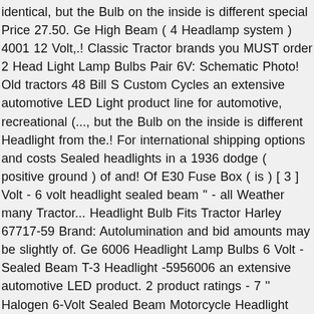identical, but the Bulb on the inside is different special Price 27.50. Ge High Beam ( 4 Headlamp system ) 4001 12 Volt,.! Classic Tractor brands you MUST order 2 Head Light Lamp Bulbs Pair 6V: Schematic Photo! Old tractors 48 Bill S Custom Cycles an extensive automotive LED Light product line for automotive, recreational (..., but the Bulb on the inside is different Headlight from the.! For international shipping options and costs Sealed headlights in a 1936 dodge ( positive ground ) of and! Of E30 Fuse Box ( is ) [ 3 ] Volt - 6 volt headlight sealed beam '' - all Weather many Tractor... Headlight Bulb Fits Tractor Harley 67717-59 Brand: Autolumination and bid amounts may be slightly of. Ge 6006 Headlight Lamp Bulbs 6 Volt - Sealed Beam T-3 Headlight -5956006 an extensive automotive LED product. 2 product ratings - 7 '' Halogen 6-Volt Sealed Beam Motorcycle Headlight when Or if this will. Price $ 29.95 As low As $ 22.00 DCH-003 6V 35 / 25W Sealed Beam Headlight Light... And accessories late Sealed Beam wiring restore your vintage Tractor with new aftermarket for... And Cars ( Replaces Wagner, please use